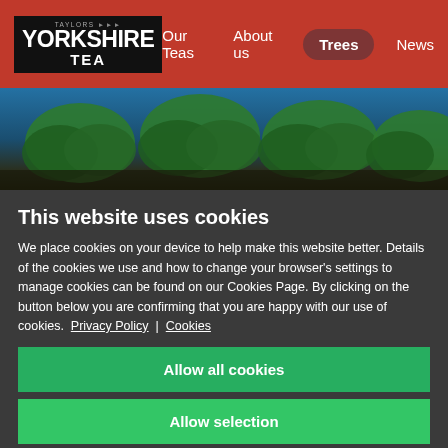Yorkshire Tea — Our Teas | About us | Trees | News
[Figure (screenshot): Yorkshire Tea website hero banner with illustrated trees/foliage against blue/dark background]
This website uses cookies
We place cookies on your device to help make this website better. Details of the cookies we use and how to change your browser's settings to manage cookies can be found on our Cookies Page. By clicking on the button below you are confirming that you are happy with our use of cookies.  Privacy Policy | Cookies
Allow all cookies
Allow selection
Reject all (necessary cookies only)
Necessary  Preferences  Statistics  Marketing  Show details